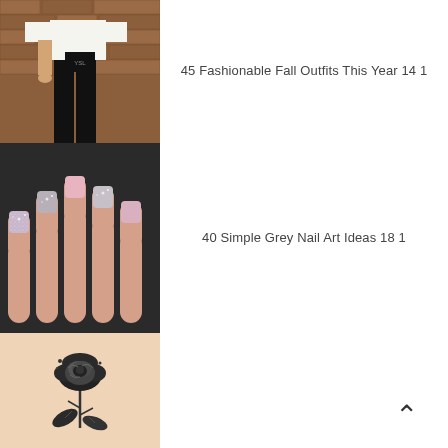[Figure (photo): Fashion photo showing woman in black pants, white blouse, holding black clutch purse, standing against brick wall]
45 Fashionable Fall Outfits This Year 14 1
[Figure (photo): Close-up photo of hands with nails painted in pink and silver glitter nail art design, on dark background]
40 Simple Grey Nail Art Ideas 18 1
[Figure (photo): Tattoo of a rose with stem and leaves on a person's leg/calf]